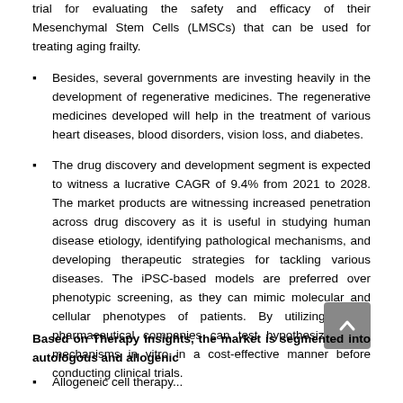Besides, several governments are investing heavily in the development of regenerative medicines. The regenerative medicines developed will help in the treatment of various heart diseases, blood disorders, vision loss, and diabetes.
The drug discovery and development segment is expected to witness a lucrative CAGR of 9.4% from 2021 to 2028. The market products are witnessing increased penetration across drug discovery as it is useful in studying human disease etiology, identifying pathological mechanisms, and developing therapeutic strategies for tackling various diseases. The iPSC-based models are preferred over phenotypic screening, as they can mimic molecular and cellular phenotypes of patients. By utilizing these, pharmaceutical companies can test hypothesized drug mechanisms in vitro in a cost-effective manner before conducting clinical trials.
Based on Therapy Insights, the market is segmented into autologous and allogenic
Allogeneic cell therapy...